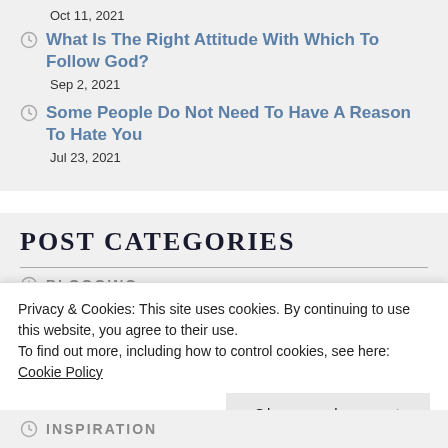Oct 11, 2021
What Is The Right Attitude With Which To Follow God?
Sep 2, 2021
Some People Do Not Need To Have A Reason To Hate You
Jul 23, 2021
POST CATEGORIES
BLOGGING
INSPIRATION
Privacy & Cookies: This site uses cookies. By continuing to use this website, you agree to their use.
To find out more, including how to control cookies, see here: Cookie Policy
Close and accept